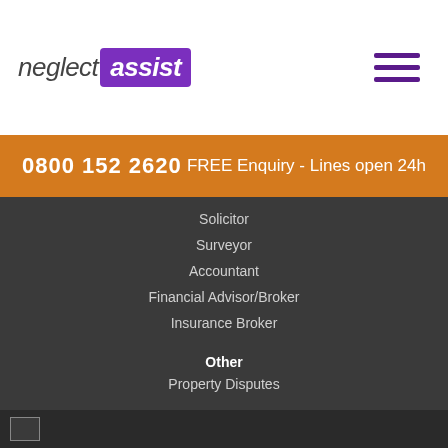[Figure (logo): Neglect Assist logo with 'neglect' in dark italic text and 'assist' in white bold italic text on a purple rectangle background]
[Figure (other): Hamburger menu icon with three horizontal purple bars]
0800 152 2620    FREE Enquiry - Lines open 24h
Solicitor
Surveyor
Accountant
Financial Advisor/Broker
Insurance Broker
Other
Property Disputes
Client Stories
Testimonials
Case Studies
Contact Us